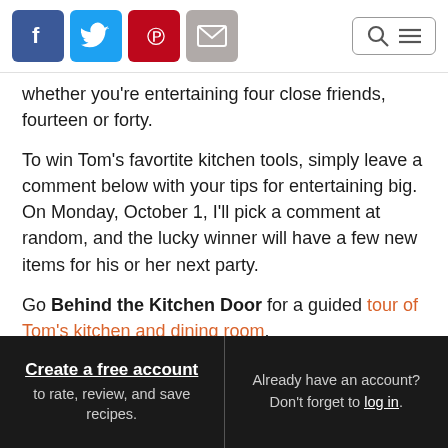Social media icons: Facebook, Twitter, Pinterest, Email. Search and menu icons.
whether you're entertaining four close friends, fourteen or forty.
To win Tom's favortite kitchen tools, simply leave a comment below with your tips for entertaining big. On Monday, October 1, I'll pick a comment at random, and the lucky winner will have a few new items for his or her next party.
Go Behind the Kitchen Door for a guided tour of Tom's kitchen and dining room.
Create a free account to rate, review, and save recipes. | Already have an account? Don't forget to log in.